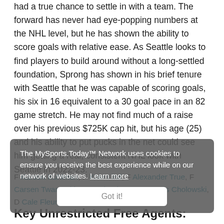had a true chance to settle in with a team. The forward has never had eye-popping numbers at the NHL level, but he has shown the ability to score goals with relative ease. As Seattle looks to find players to build around without a long-settled foundation, Sprong has shown in his brief tenure with Seattle that he was capable of scoring goals, his six in 16 equivalent to a 30 goal pace in an 82 game stretch. He may not find much of a raise over his previous $725K cap hit, but his age (25) and his ability to put pucks in the net could see him getting a real, consistent NHL look with Seattle in 2022-23.
The MySports.Today™ Network uses cookies to ensure you receive the best experience while on our network of websites. Learn more
Got it!
F Karson Kuhlman, F Kole Lind, F Alexander True, F Carsen Twarynski, D Haydn Fleury, D Dennis Cholowski, D Cale Fleury
Key Unrestricted Free Agents: